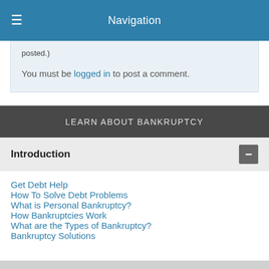Navigation
posted.)
You must be logged in to post a comment.
LEARN ABOUT BANKRUPTCY
Introduction
Get Debt Help
How To Solve Debt Problems
What is Personal Bankruptcy?
How Bankruptcies Work
What are the Types of Bankruptcy?
Bankruptcy Solutions